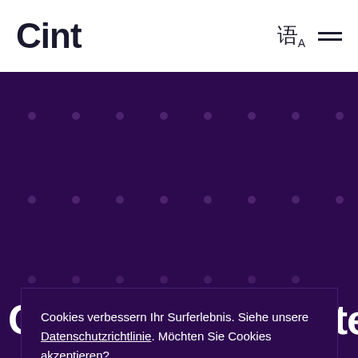Cint
[Figure (screenshot): Purple background with dot grid pattern and partially visible large white heading 'Cint Quality Charter']
Cookies verbessern Ihr Surferlebnis. Siehe unsere Datenschutzrichtlinie. Möchten Sie Cookies akzeptieren?
Akzeptieren
Customize
Ablehnen